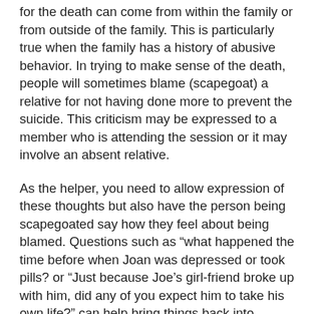for the death can come from within the family or from outside of the family. This is particularly true when the family has a history of abusive behavior. In trying to make sense of the death, people will sometimes blame (scapegoat) a relative for not having done more to prevent the suicide. This criticism may be expressed to a member who is attending the session or it may involve an absent relative.
As the helper, you need to allow expression of these thoughts but also have the person being scapegoated say how they feel about being blamed. Questions such as “what happened the time before when Joan was depressed or took pills? or “Just because Joe’s girl-friend broke up with him, did any of you expect him to take his own life?” can help bring things back into perspective.